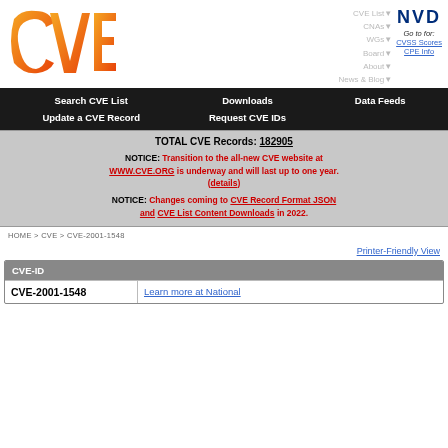[Figure (logo): CVE logo - orange gradient letters CVE with circuit-board dot pattern]
CVE List▼
CNAs▼
WGs▼
Board▼
About▼
News & Blog▼
[Figure (logo): NVD logo - dark blue bold letters NVD, Go to for: CVSS Scores, CPE Info]
Search CVE List   Downloads   Data Feeds
Update a CVE Record   Request CVE IDs
TOTAL CVE Records: 182905
NOTICE: Transition to the all-new CVE website at WWW.CVE.ORG is underway and will last up to one year. (details)
NOTICE: Changes coming to CVE Record Format JSON and CVE List Content Downloads in 2022.
HOME > CVE > CVE-2001-1548
Printer-Friendly View
| CVE-ID |  |
| --- | --- |
| CVE-2001-1548 | Learn more at National |